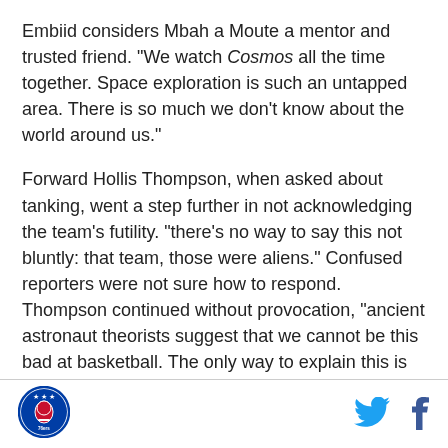Embiid considers Mbah a Moute a mentor and trusted friend. "We watch Cosmos all the time together. Space exploration is such an untapped area. There is so much we don't know about the world around us."
Forward Hollis Thompson, when asked about tanking, went a step further in not acknowledging the team's futility. "there's no way to say this not bluntly: that team, those were aliens." Confused reporters were not sure how to respond. Thompson continued without provocation, "ancient astronaut theorists suggest that we cannot be this bad at basketball. The only way to explain this is that aliens are living amongst us. Those aliens are the Dallas Mavericks."
[Figure (logo): Philadelphia 76ers circular logo in blue and red]
[Figure (logo): Twitter bird icon in blue]
[Figure (logo): Facebook f icon in dark blue]